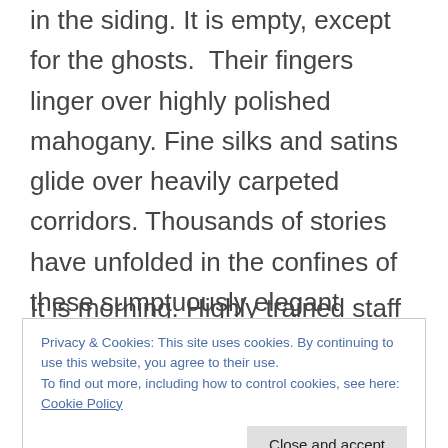bathed in silvery moonlight, the train waits in the siding. It is empty, except for the ghosts.  Their fingers linger over highly polished mahogany. Fine silks and satins glide over heavily carpeted corridors. Thousands of stories have unfolded in the confines of these sumptuously elegant carriages.
It is morning. Highly trained staff will soon be laid. The Venice Simplon Orient Express
Privacy & Cookies: This site uses cookies. By continuing to use this website, you agree to their use.
To find out more, including how to control cookies, see here: Cookie Policy